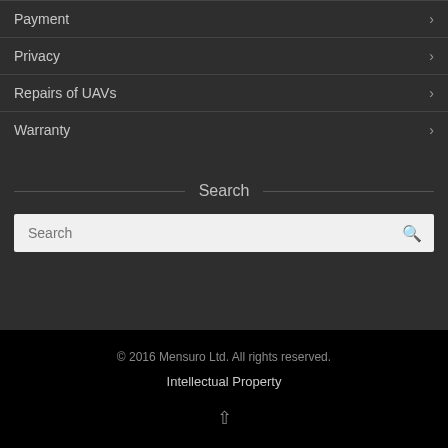Payment
Privacy
Repairs of UAVs
Warranty
Search
[Figure (screenshot): Search input box with a magnifier icon on the right]
© 2016 Mensuro Ltd. All rights reserved.
Intellectual Property